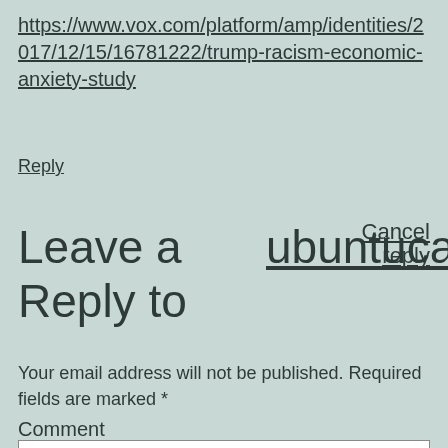https://www.vox.com/platform/amp/identities/2017/12/15/16781222/trump-racism-economic-anxiety-study
Reply
Leave a Reply to ubuntucat Cancel reply
Your email address will not be published. Required fields are marked *
Comment